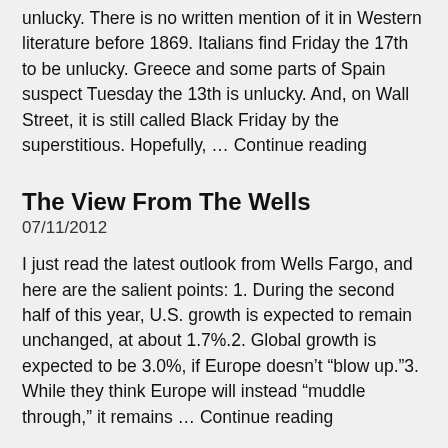unlucky.  There is no written mention of it in Western literature before 1869.  Italians find Friday the 17th to be unlucky.  Greece and some parts of Spain suspect Tuesday the 13th is unlucky.  And, on Wall Street, it is still called Black Friday by the superstitious. Hopefully, … Continue reading
The View From The Wells
07/11/2012
I just read the latest outlook from Wells Fargo, and here are the salient points: 1.  During the second half of this year, U.S. growth is expected to remain unchanged, at about 1.7%.2.  Global growth is expected to be 3.0%, if Europe doesn’t “blow up.”3.  While they think Europe will instead “muddle through,” it remains … Continue reading